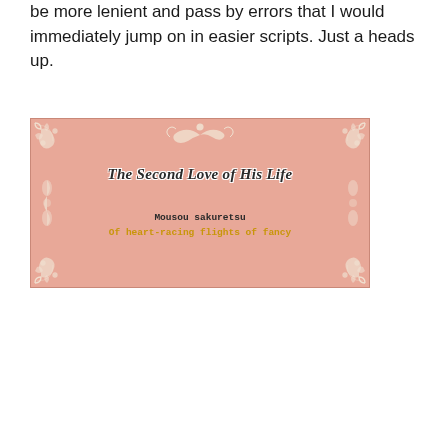be more lenient and pass by errors that I would immediately jump on in easier scripts. Just a heads up.
[Figure (illustration): Pink decorative cover card with white ornamental border corners and side flourishes. Center text reads 'The Second Love of His Life' in italic bold script. Below: 'Mousou sakuretsu' in monospace bold black, and 'Of heart-racing flights of fancy' in monospace bold golden/amber color.]